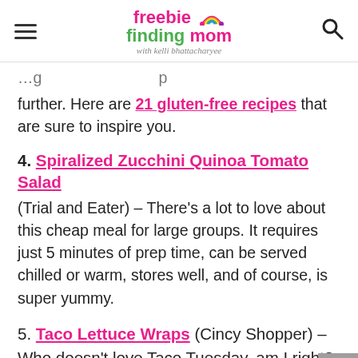freebie finding mom with kelli bhattacharyee
further. Here are 21 gluten-free recipes that are sure to inspire you.
4. Spiralized Zucchini Quinoa Tomato Salad
(Trial and Eater) – There's a lot to love about this cheap meal for large groups. It requires just 5 minutes of prep time, can be served chilled or warm, stores well, and of course, is super yummy.
5. Taco Lettuce Wraps
(Cincy Shopper) – Who doesn't love Taco Tuesday, am I right? Tacos are